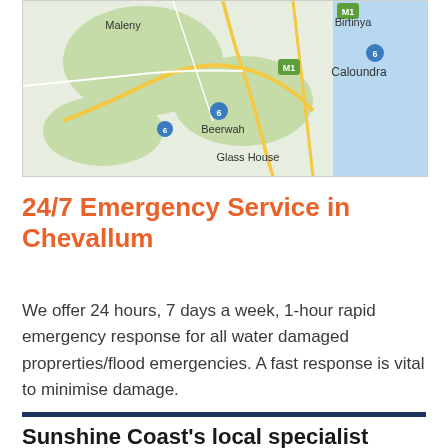[Figure (map): Google Maps view showing Sunshine Coast area including Maleny, Beerwah, Glass House Mountains, Caloundra, and Birtinya. Road network with M1 motorway and route 6 markers visible. Green terrain with coastal blue water on east side.]
24/7 Emergency Service in Chevallum
We offer 24 hours, 7 days a week, 1-hour rapid emergency response for all water damaged proprerties/flood emergencies. A fast response is vital to minimise damage.
Sunshine Coast's local specialist